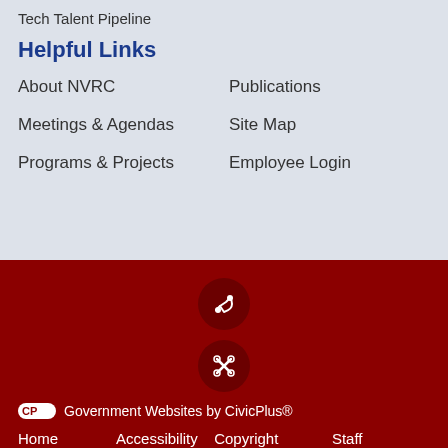Tech Talent Pipeline
Helpful Links
About NVRC
Publications
Meetings & Agendas
Site Map
Programs & Projects
Employee Login
[Figure (illustration): Share icon in dark red circle]
[Figure (illustration): Tools/settings icon in dark red circle]
Government Websites by CivicPlus®
Home  Accessibility  Copyright Notices  Staff Directory